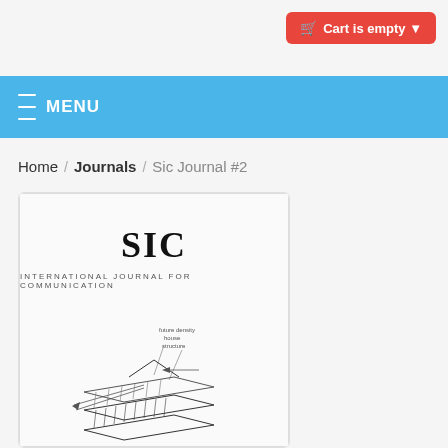Cart is empty
MENU
Home / Journals / Sic Journal #2
[Figure (illustration): Preview image of SIC - International Journal for Communication issue #2 cover, showing the title SIC in large serif font, subtitle INTERNATIONAL JOURNAL FOR COMMUNICATION, and a hand-drawn architectural or engineering sketch at the bottom.]